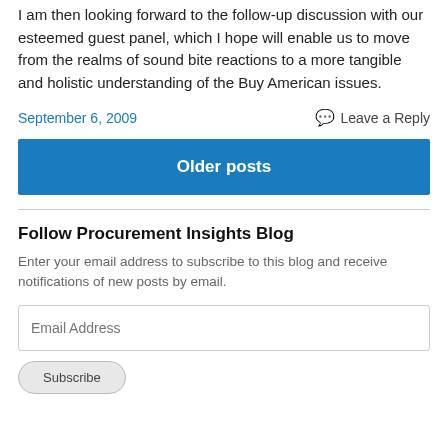I am then looking forward to the follow-up discussion with our esteemed guest panel, which I hope will enable us to move from the realms of sound bite reactions to a more tangible and holistic understanding of the Buy American issues.
September 6, 2009   Leave a Reply
Older posts
Follow Procurement Insights Blog
Enter your email address to subscribe to this blog and receive notifications of new posts by email.
Email Address